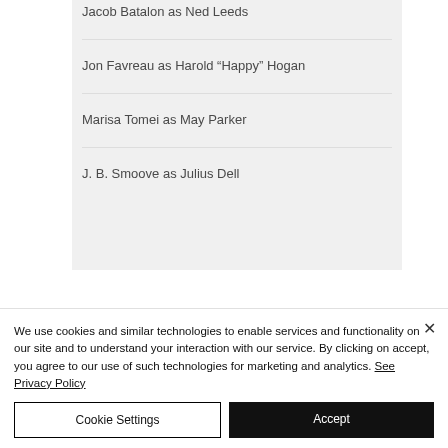Jacob Batalon as Ned Leeds
Jon Favreau as Harold “Happy” Hogan
Marisa Tomei as May Parker
J. B. Smoove as Julius Dell
We use cookies and similar technologies to enable services and functionality on our site and to understand your interaction with our service. By clicking on accept, you agree to our use of such technologies for marketing and analytics. See Privacy Policy
Cookie Settings
Accept